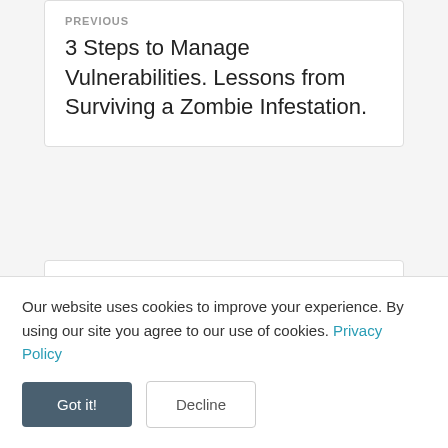PREVIOUS
3 Steps to Manage Vulnerabilities. Lessons from Surviving a Zombie Infestation.
NEXT
Our website uses cookies to improve your experience. By using our site you agree to our use of cookies. Privacy Policy
Got it!
Decline